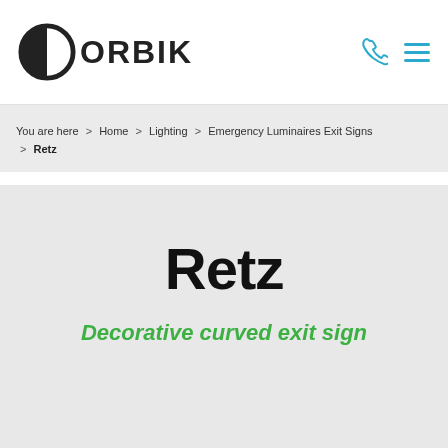[Figure (logo): Dorbik logo with half-circle icon and bold text 'DORBIK']
You are here > Home > Lighting > Emergency Luminaires Exit Signs > Retz
Retz
Decorative curved exit sign